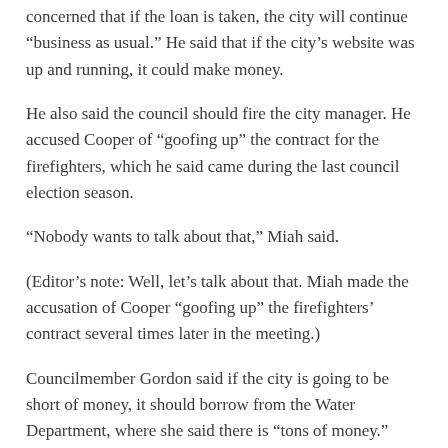concerned that if the loan is taken, the city will continue “business as usual.” He said that if the city’s website was up and running, it could make money.
He also said the council should fire the city manager. He accused Cooper of “goofing up” the contract for the firefighters, which he said came during the last council election season.
“Nobody wants to talk about that,” Miah said.
(Editor’s note: Well, let’s talk about that. Miah made the accusation of Cooper “goofing up” the firefighters’ contract several times later in the meeting.)
Councilmember Gordon said if the city is going to be short of money, it should borrow from the Water Department, where she said there is “tons of money.”
(Editor’s note: That would be the New York Yankees.)